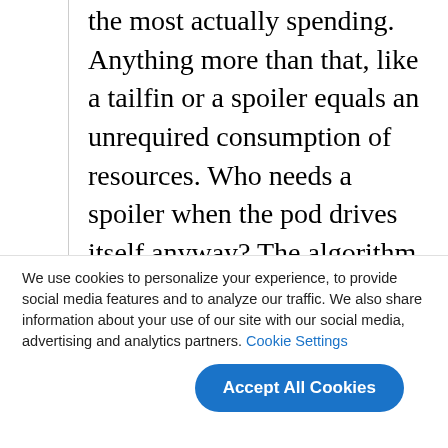the most actually spending. Anything more than that, like a tailfin or a spoiler equals an unrequired consumption of resources. Who needs a spoiler when the pod drives itself anyway? The algorithm isn't going to push the limits of handling.
Now there might be a market for an LED system that would use that minimalist real estate to display a message of social justice; perhaps an unhappy face for right turns and a smiley for lefts. The ultimate
We use cookies to personalize your experience, to provide social media features and to analyze our traffic. We also share information about your use of our site with our social media, advertising and analytics partners. Cookie Settings
Accept All Cookies